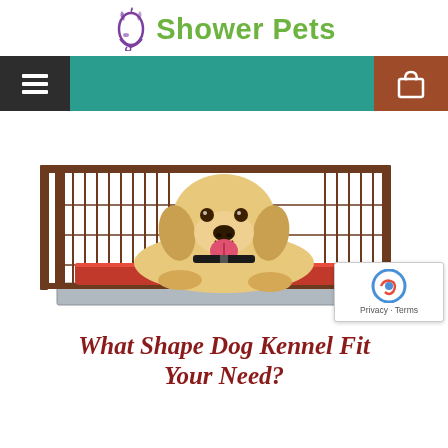Shower Pets
[Figure (photo): Navigation bar with hamburger menu icon on dark background (left) and shopping bag/cart icon on brown background (right) on teal/green background]
[Figure (photo): A golden Labrador puppy lying inside a wire dog kennel/crate on a red cushion/mat, smiling with tongue out, white background]
What Shape Dog Kennel Fits Your Need?